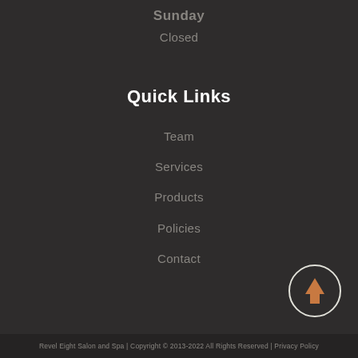Sunday
Closed
Quick Links
Team
Services
Products
Policies
Contact
[Figure (illustration): Back to top button: circle with upward arrow in orange/copper color]
Revel Eight Salon and Spa | Copyright © 2013-2022 All Rights Reserved | Privacy Policy